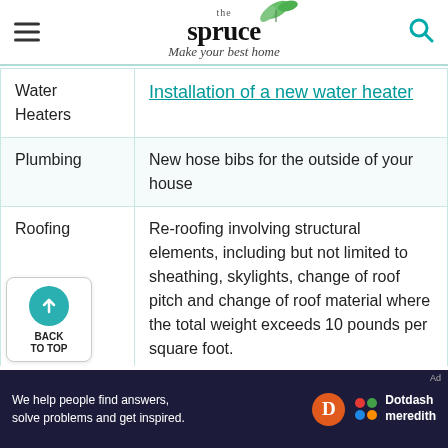the spruce — Make your best home
| Category | Description |
| --- | --- |
| Water Heaters | Installation of a new water heater |
| Plumbing | New hose bibs for the outside of your house |
| Roofing | Re-roofing involving structural elements, including but not limited to sheathing, skylights, change of roof pitch and change of roof material where the total weight exceeds 10 pounds per square foot. |
Ad — We help people find answers, solve problems and get inspired. Dotdash meredith